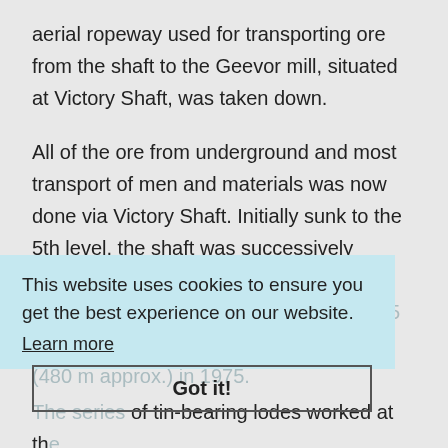aerial ropeway used for transporting ore from the shaft to the Geevor mill, situated at Victory Shaft, was taken down.
All of the ore from underground and most transport of men and materials was now done via Victory Shaft. Initially sunk to the 5th level, the shaft was successively deepened eventually reaching its final depth of 1575 feet (480 m approx.) in 1975.
The series of tin-bearing lodes worked at the Victory section of the mine had been fully developed by the 1960's, and in order to continue production further reserves had to be
This website uses cookies to ensure you get the best experience on our website.
Learn more
Got it!